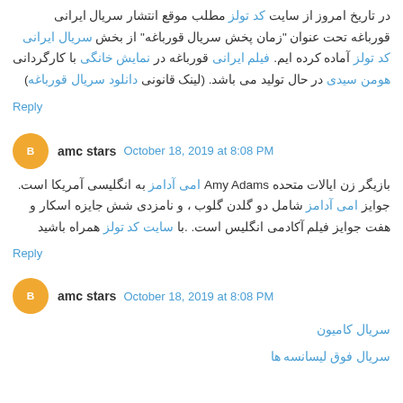در تاریخ امروز از سایت کد تولز مطلب موقع انتشار سریال ایرانی قورباغه تحت عنوان "زمان پخش سریال قورباغه" از بخش سریال ایرانی کد تولز آماده کرده ایم. فیلم ایرانی قورباغه در نمایش خانگی با کارگردانی هومن سیدی در حال تولید می باشد. (لینک قانونی دانلود سریال قورباغه)
Reply
amc stars  October 18, 2019 at 8:08 PM
بازیگر زن ایالات متحده Amy Adams امی آدامز به انگلیسی آمریکا است. جوایز امی آدامز شامل دو گلدن گلوب ، و نامزدی شش جایزه اسکار و هفت جوایز فیلم آکادمی انگلیس است. .با سایت کد تولز همراه باشید
Reply
amc stars  October 18, 2019 at 8:08 PM
سریال کامیون
سریال فوق لیسانسه ها